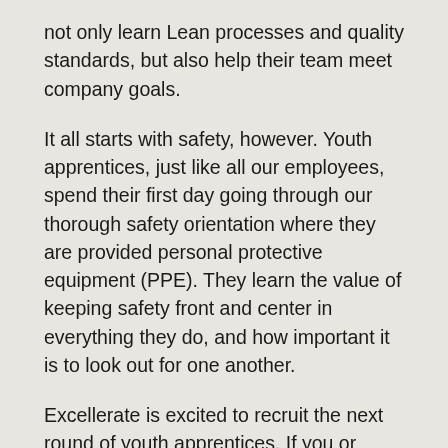not only learn Lean processes and quality standards, but also help their team meet company goals.
It all starts with safety, however. Youth apprentices, just like all our employees, spend their first day going through our thorough safety orientation where they are provided personal protective equipment (PPE). They learn the value of keeping safety front and center in everything they do, and how important it is to look out for one another.
Excellerate is excited to recruit the next round of youth apprentices. If you or someone you know is interested, please get started by talking to your school counselor, who can put you in touch with one of our YA coordinators. Once accepted into